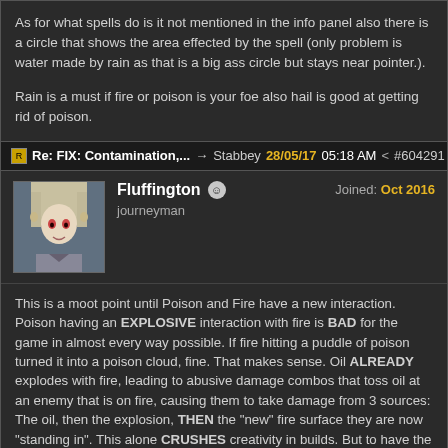As for what spells do is it not mentioned in the info panel also there is a circle that shows the area effected by the spell (only problem is water made by rain as that is a big ass circle but stays near pointer.).
Rain is a must if fire or poison is your foe also hail is good at getting rid of poison.
Re: FIX: Contamination,... → Stabbey 28/05/17 05:18 AM < #604291
Fluffington journeyman Joined: Oct 2016
This is a moot point until Poison and Fire have a new interaction. Poison having an EXPLOSIVE interaction with fire is BAD for the game in almost every way possible. If fire hitting a puddle of poison turned it into a poison cloud, fine. That makes sense. Oil ALREADY explodes with fire, leading to abusive damage combos that toss oil at an enemy that is on fire, causing them to take damage from 3 sources: The oil, then the explosion, THEN the "new" fire surface they are now "standing in". This alone CRUSHES creativity in builds. But to have the EXACT same interaction with TWO different elements is BEYOND unacceptable.
Ask any mage player. They know this combo well and HAVE to abuse it to keep up with the new bullshit that is a finesse dagger build.